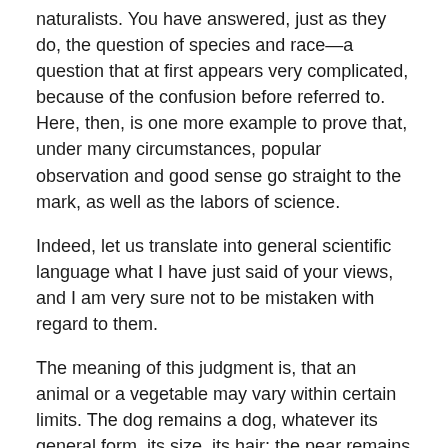naturalists. You have answered, just as they do, the question of species and race—a question that at first appears very complicated, because of the confusion before referred to. Here, then, is one more example to prove that, under many circumstances, popular observation and good sense go straight to the mark, as well as the labors of science.
Indeed, let us translate into general scientific language what I have just said of your views, and I am very sure not to be mistaken with regard to them.
The meaning of this judgment is, that an animal or a vegetable may vary within certain limits. The dog remains a dog, whatever its general form, its size, its hair; the pear remains a pear, whatever its size, its savor, the color of its skin.